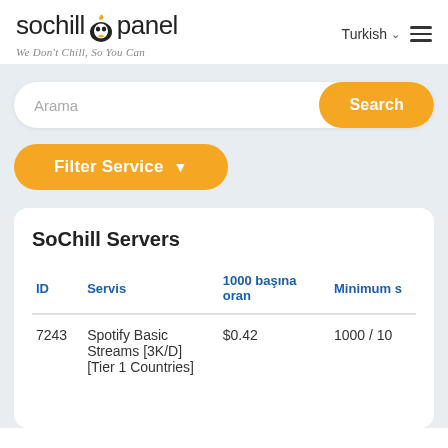[Figure (logo): SoChill Panel logo with penguin/bird icon and tagline 'We Don't Chill, So You Can']
Turkish ▾  ≡
[Figure (screenshot): Search bar with placeholder 'Arama' and orange 'Search' button]
[Figure (screenshot): Orange 'Filter Service ▼' dropdown button]
SoChill Servers
| ID | Servis | 1000 başına oran | Minimum s |
| --- | --- | --- | --- |
| 7243 | Spotify Basic Streams [3K/D] [Tier 1 Countries] | $0.42 | 1000 / 10 |